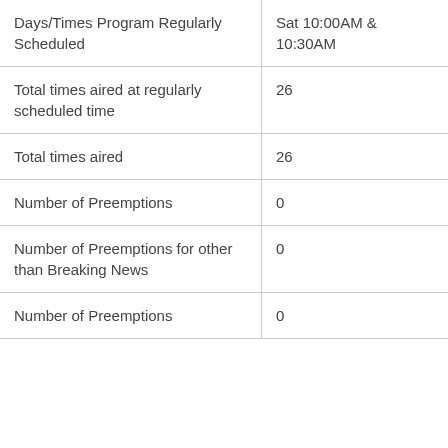| Days/Times Program Regularly Scheduled | Sat 10:00AM & 10:30AM |
| Total times aired at regularly scheduled time | 26 |
| Total times aired | 26 |
| Number of Preemptions | 0 |
| Number of Preemptions for other than Breaking News | 0 |
| Number of Preemptions | 0 |